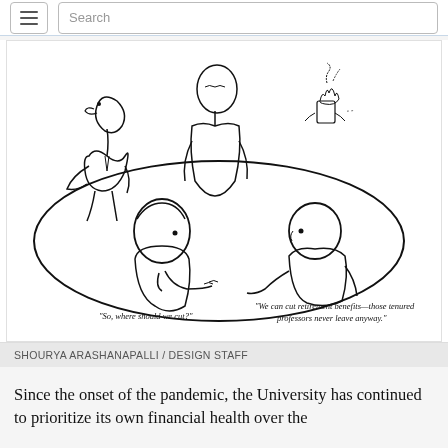Search
[Figure (illustration): A pen-and-ink cartoon showing four people seated around a table in a meeting. One figure on the left says 'So, where should we cut?' and a figure on the right responds 'We can cut retirement benefits—those tenured professors never leave anyway.' There is a small burning/smoking figure on the table.]
SHOURYA ARASHANAPALLI / DESIGN STAFF
Since the onset of the pandemic, the University has continued to prioritize its own financial health over the